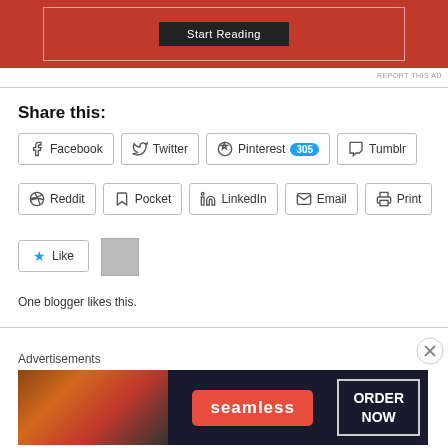[Figure (screenshot): Top advertisement banner with red background and 'Start Reading' button]
REPORT THIS AD
Share this:
[Figure (screenshot): Social share buttons: Facebook, Twitter, Pinterest 305, Tumblr, Reddit, Pocket, LinkedIn, Email, Print]
[Figure (screenshot): Like button with star icon and blogger avatar thumbnail]
One blogger likes this.
Advertisements
[Figure (screenshot): Seamless food delivery advertisement with pizza image, Seamless logo, and ORDER NOW button]